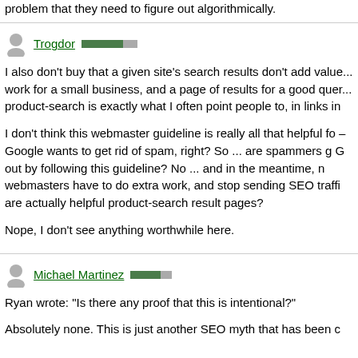problem that they need to figure out algorithmically.
Trogdor
I also don't buy that a given site's search results don't add value... work for a small business, and a page of results for a good query... product-search is exactly what I often point people to, in links in...
I don't think this webmaster guideline is really all that helpful for... – Google wants to get rid of spam, right? So ... are spammers going to G out by following this guideline? No ... and in the meantime, no... webmasters have to do extra work, and stop sending SEO traffic... are actually helpful product-search result pages?
Nope, I don't see anything worthwhile here.
Michael Martinez
Ryan wrote: "Is there any proof that this is intentional?"
Absolutely none. This is just another SEO myth that has been c...